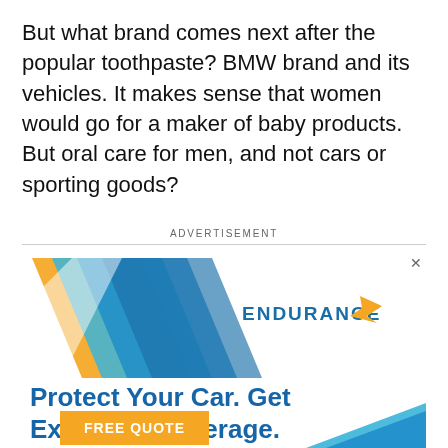But what brand comes next after the popular toothpaste? BMW brand and its vehicles. It makes sense that women would go for a maker of baby products. But oral care for men, and not cars or sporting goods?
ADVERTISEMENT
[Figure (other): Endurance auto warranty advertisement. Shows diagonal blue and orange stripes logo on left, Endurance brand name with wing logo in blue and orange on right, text 'Protect Your Car. Get Extended Coverage.' in bold blue, an orange 'FREE QUOTE' button at bottom left, and decorative blue/teal diagonal stripes at bottom right. Close (x) button in top right.]